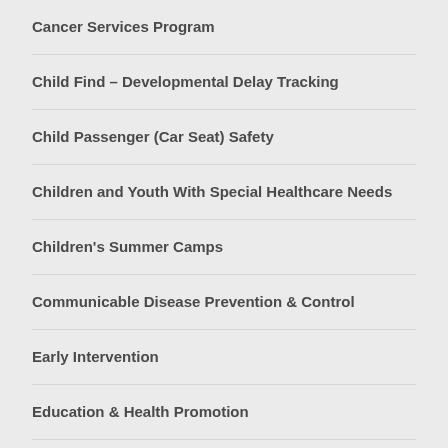Cancer Services Program
Child Find – Developmental Delay Tracking
Child Passenger (Car Seat) Safety
Children and Youth With Special Healthcare Needs
Children's Summer Camps
Communicable Disease Prevention & Control
Early Intervention
Education & Health Promotion
Environmental Health Assessment